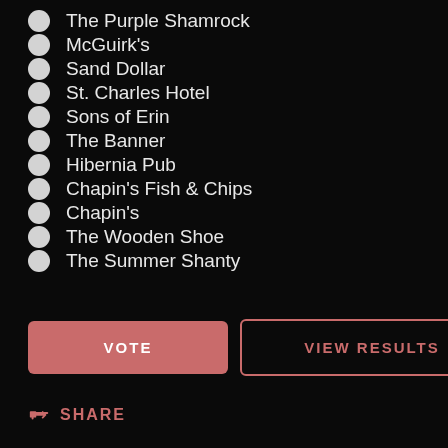The Purple Shamrock
McGuirk's
Sand Dollar
St. Charles Hotel
Sons of Erin
The Banner
Hibernia Pub
Chapin's Fish & Chips
Chapin's
The Wooden Shoe
The Summer Shanty
VOTE
VIEW RESULTS
SHARE